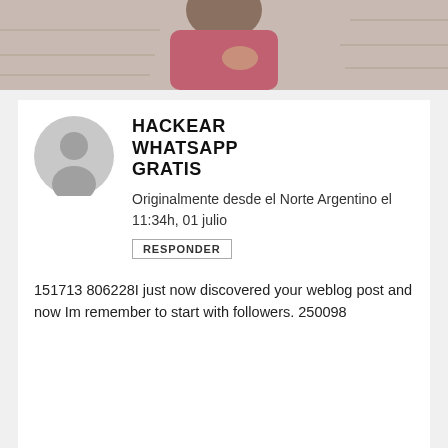[Figure (photo): Partial view of a woman wearing a pink/purple garment, with a stone wall background, cropped at the chest level.]
HACKEAR WHATSAPP GRATIS
Originalmente desde el Norte Argentino el 11:34h, 01 julio
RESPONDER
151713 806228I just now discovered your weblog post and now Im remember to start with followers. 250098